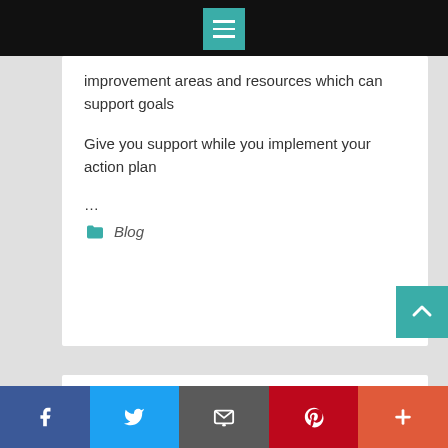Menu navigation bar
improvement areas and resources which can support goals
Give you support while you implement your action plan
...
Blog
Moving 101 – Helpful Tips to Prevent Loss of Personal Belongings
August 21, 2018
Because moving is considered as one of t...